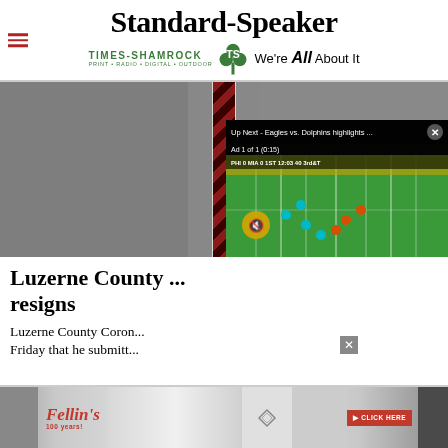Standard-Speaker | TIMES-SHAMROCK PRINT · RADIO · DIGITAL · OUTDOOR | We're All About It
[Figure (photo): Close-up of a man in a gray suit with a red and black striped tie, with a video overlay showing 'Up Next - Eagles vs. Dolphins highlights ...' and an ad (Ad 1 of 1, 0:15) displaying a football game on a green field with a mute button]
Luzerne County ... resigns
Luzerne County Coron... Friday that he submitt...
[Figure (screenshot): Fellin's 100 years! advertisement banner with women modeling jewelry and a red CLICK HERE button]